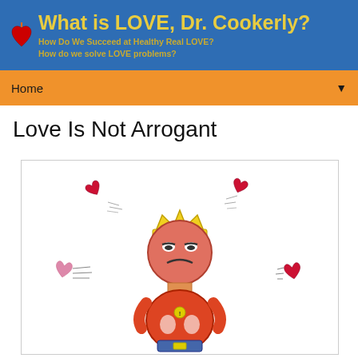What is LOVE, Dr. Cookerly? How Do We Succeed at Healthy Real LOVE? How do we solve LOVE problems?
Home
Love Is Not Arrogant
[Figure (illustration): Cartoon illustration of an arrogant king-like round character with a crown and frowning face, with hearts flying away from it in different directions. Hearts shown moving away to upper-left, upper-right, left, and right sides. The character appears to be an orange/red round figure with arms on hips and a disappointed expression.]